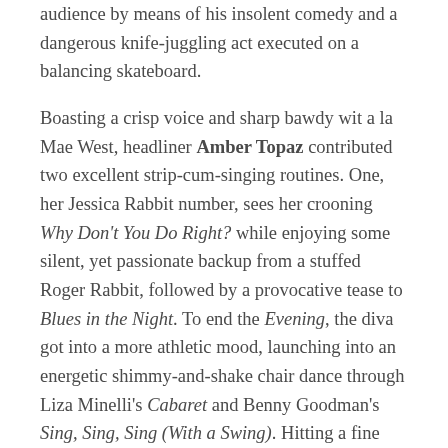audience by means of his insolent comedy and a dangerous knife-juggling act executed on a balancing skateboard.
Boasting a crisp voice and sharp bawdy wit a la Mae West, headliner Amber Topaz contributed two excellent strip-cum-singing routines. One, her Jessica Rabbit number, sees her crooning Why Don't You Do Right? while enjoying some silent, yet passionate backup from a stuffed Roger Rabbit, followed by a provocative tease to Blues in the Night. To end the Evening, the diva got into a more athletic mood, launching into an energetic shimmy-and-shake chair dance through Liza Minelli's Cabaret and Benny Goodman's Sing, Sing, Sing (With a Swing). Hitting a fine balance between funny and sexy, the diminutive diva knows how to put a larger-than-life act for crowds of any size.
For concerned to the victims, the crowd based on...